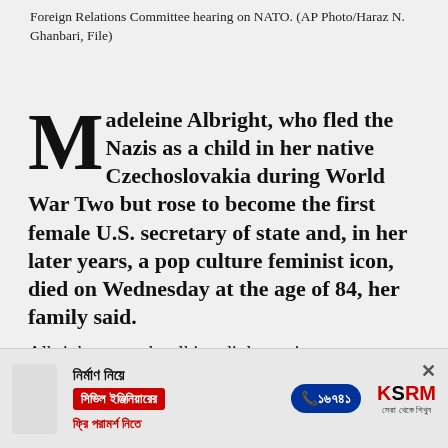Foreign Relations Committee hearing on NATO. (AP Photo/Haraz N. Ghanbari, File)
Madeleine Albright, who fled the Nazis as a child in her native Czechoslovakia during World War Two but rose to become the first female U.S. secretary of state and, in her later years, a pop culture feminist icon, died on Wednesday at the age of 84, her family said.
Albright, a tough-talking diplomat in an administration that hesitated to involve itself in the…
[Figure (infographic): Advertisement banner for KSRM civil engineering consultation with Bengali text, phone number 16741, and logo.]